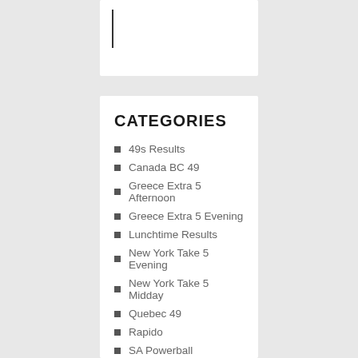CATEGORIES
49s Results
Canada BC 49
Greece Extra 5 Afternoon
Greece Extra 5 Evening
Lunchtime Results
New York Take 5 Evening
New York Take 5 Midday
Quebec 49
Rapido
SA Powerball
Swertres
Teatime Results